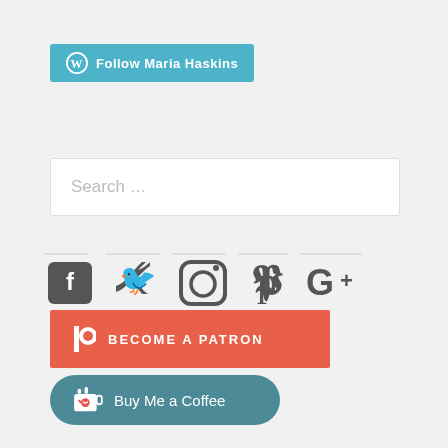[Figure (other): WordPress Follow Maria Haskins button in teal/cyan color]
[Figure (other): Search input field with placeholder text 'Search ...']
[Figure (other): Social media icons: Facebook, Twitter, Instagram, Pinterest, Google+]
[Figure (other): Patreon 'BECOME A PATRON' button in red-orange]
[Figure (other): Buy Me a Coffee button in teal]